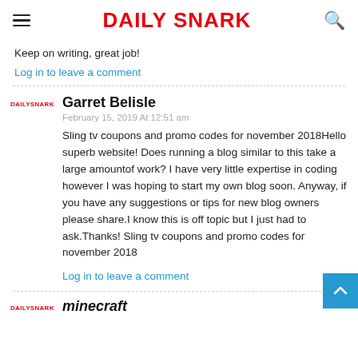DAILY SNARK
Keep on writing, great job!
Log in to leave a comment
Garret Belisle
February 15, 2019 At 12:51 am
Sling tv coupons and promo codes for november 2018Hello superb website! Does running a blog similar to this take a large amountof work? I have very little expertise in coding however I was hoping to start my own blog soon. Anyway, if you have any suggestions or tips for new blog owners please share.I know this is off topic but I just had to ask.Thanks! Sling tv coupons and promo codes for november 2018
Log in to leave a comment
minecraft